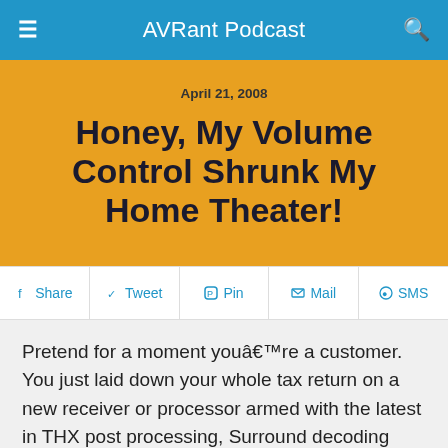AVRant Podcast
April 21, 2008
Honey, My Volume Control Shrunk My Home Theater!
Share  Tweet  Pin  Mail  SMS
Pretend for a moment youâ€™re a customer. You just laid down your whole tax return on a new receiver or processor armed with the latest in THX post processing, Surround decoding and room correction. You operate with the idea that you will have limitless